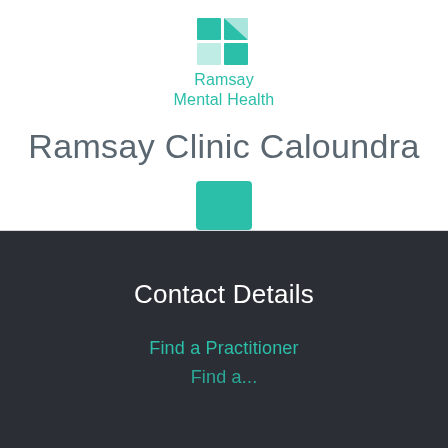[Figure (logo): Ramsay Mental Health logo with teal grid icon and teal text]
Ramsay Clinic Caloundra
[Figure (other): Teal rounded square decorative element]
Contact Details
Find a Practitioner
Find a...